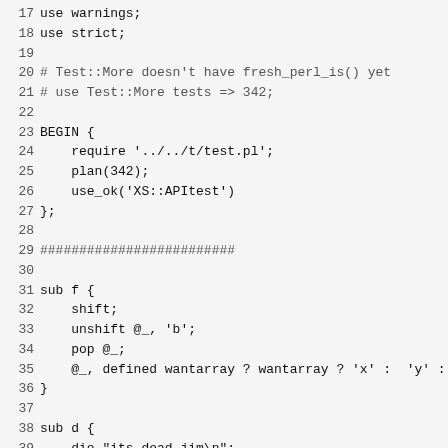Source code listing, lines 17-49, Perl script
17: use warnings;
18: use strict;
19: (blank)
20: # Test::More doesn't have fresh_perl_is() yet
21: # use Test::More tests => 342;
22: (blank)
23: BEGIN {
24:     require '../../t/test.pl';
25:     plan(342);
26:     use_ok('XS::APItest')
27: };
28: (blank)
29: #########################
30: (blank)
31: sub f {
32:     shift;
33:     unshift @_, 'b';
34:     pop @_;
35:     @_, defined wantarray ? wantarray ? 'x' : 'y' : 'z
36: }
37: (blank)
38: sub d {
39:     die "its_dead_jim\n";
40: }
41: (blank)
42: my $obj = bless [], 'Foo';
43: (blank)
44: sub Foo::meth {
45:     return 'bad_self' unless @_ && ref $_[0] && ref($_[
46:     shift;
47:     shift;
48:     unshift @_, 'b';
49:     pop @_;